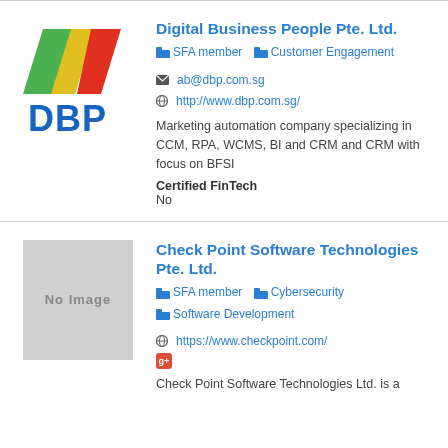[Figure (logo): DBP (Digital Business People) logo with colorful diagonal stripes and blue DBP text]
Digital Business People Pte. Ltd.
SFA member   Customer Engagement
ab@dbp.com.sg
http://www.dbp.com.sg/
Marketing automation company specializing in CCM, RPA, WCMS, BI and CRM and CRM with focus on BFSI
Certified FinTech
No
[Figure (other): No Image placeholder (grey box)]
Check Point Software Technologies Pte. Ltd.
SFA member   Cybersecurity   Software Development
https://www.checkpoint.com/
Check Point Software Technologies Ltd. is a